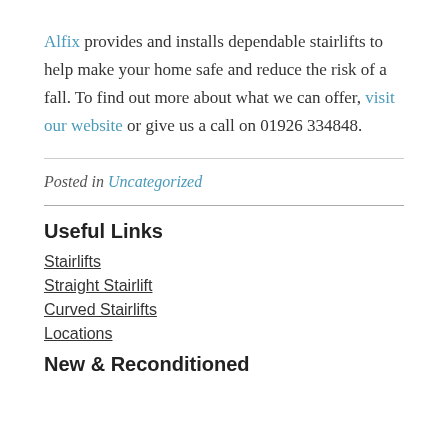Alfix provides and installs dependable stairlifts to help make your home safe and reduce the risk of a fall. To find out more about what we can offer, visit our website or give us a call on 01926 334848.
Posted in Uncategorized
Useful Links
Stairlifts
Straight Stairlift
Curved Stairlifts
Locations
New & Reconditioned